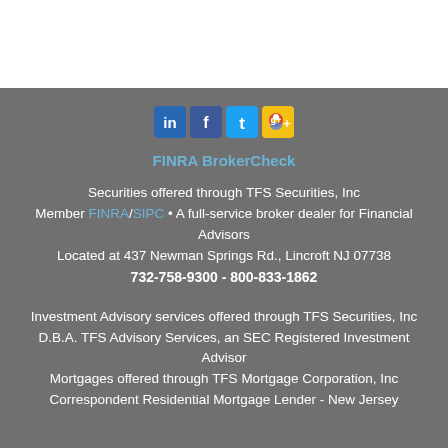[Figure (infographic): Social media icons: LinkedIn, Facebook, Twitter, Google+]
FINRA BrokerCheck
Securities offered through TFS Securities, Inc
Member FINRA/SIPC • A full-service broker dealer for Financial Advisors
Located at 437 Newman Springs Rd., Lincroft NJ 07738
732-758-9300 - 800-833-1862
Investment Advisory services offered through TFS Securities, Inc D.B.A. TFS Advisory Services, an SEC Registered Investment Advisor
Mortgages offered through TFS Mortgage Corporation, Inc
Correspondent Residential Mortgage Lender - New Jersey